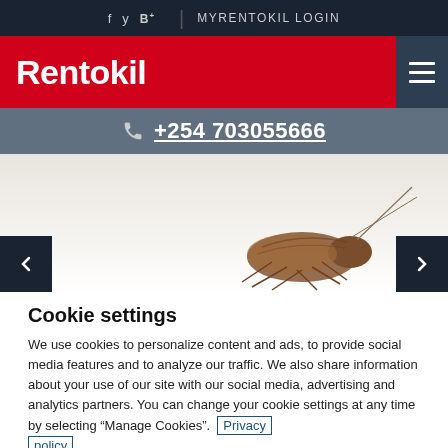f  y  B  |  MYRENTOKIL LOGIN
Rentokil
+254 703055666
[Figure (photo): Photo of a cockroach on a white background with carousel navigation arrows on left and right sides]
Cookie settings
We use cookies to personalize content and ads, to provide social media features and to analyze our traffic. We also share information about your use of our site with our social media, advertising and analytics partners. You can change your cookie settings at any time by selecting “Manage Cookies”. Privacy policy